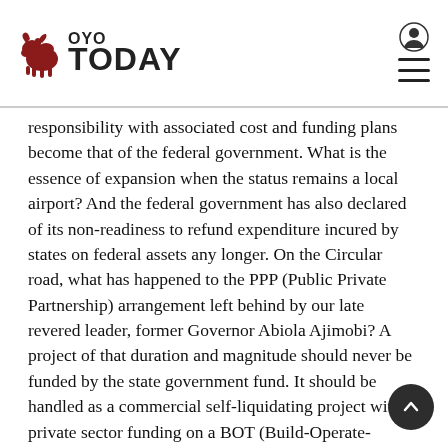Oyo TODAY
responsibility with associated cost and funding plans become that of the federal government. What is the essence of expansion when the status remains a local airport? And the federal government has also declared of its non-readiness to refund expenditure incured by states on federal assets any longer. On the Circular road, what has happened to the PPP (Public Private Partnership) arrangement left behind by our late revered leader, former Governor Abiola Ajimobi? A project of that duration and magnitude should never be funded by the state government fund. It should be handled as a commercial self-liquidating project with private sector funding on a BOT (Build-Operate-Transfer) basis. If it is not via or attractive for private sector involvement, why